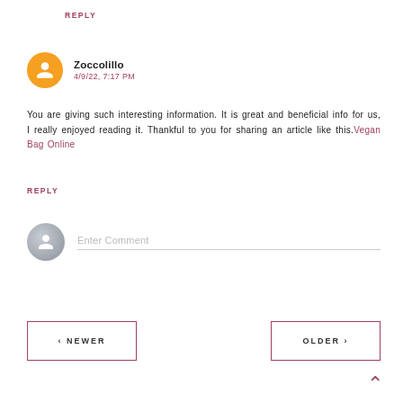REPLY
Zoccolillo
4/9/22, 7:17 PM
You are giving such interesting information. It is great and beneficial info for us, I really enjoyed reading it. Thankful to you for sharing an article like this. Vegan Bag Online
REPLY
Enter Comment
‹ NEWER
OLDER ›